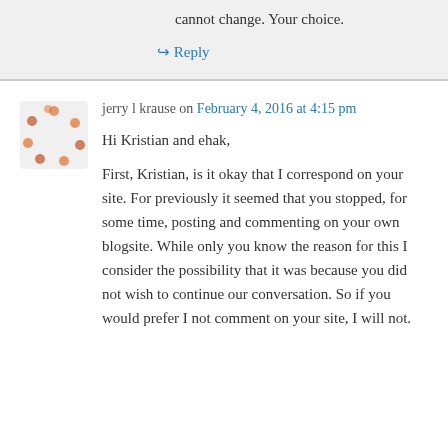cannot change. Your choice.
↳ Reply
jerry l krause on February 4, 2016 at 4:15 pm
Hi Kristian and ehak,
First, Kristian, is it okay that I correspond on your site. For previously it seemed that you stopped, for some time, posting and commenting on your own blogsite. While only you know the reason for this I consider the possibility that it was because you did not wish to continue our conversation. So if you would prefer I not comment on your site, I will not.